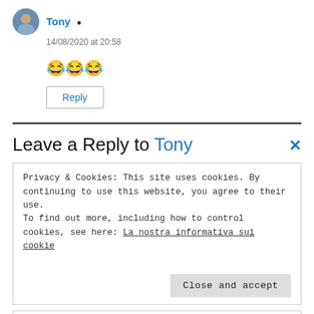Tony (author icon)
14/08/2020 at 20:58
😂😂😂
Reply
Leave a Reply to Tony
Privacy & Cookies: This site uses cookies. By continuing to use this website, you agree to their use.
To find out more, including how to control cookies, see here: La nostra informativa sui cookie
Close and accept